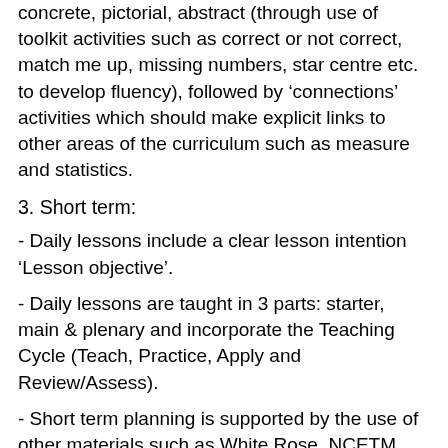concrete, pictorial, abstract (through use of toolkit activities such as correct or not correct, match me up, missing numbers, star centre etc. to develop fluency), followed by ‘connections’ activities which should make explicit links to other areas of the curriculum such as measure and statistics.
3. Short term:
- Daily lessons include a clear lesson intention ‘Lesson objective’.
- Daily lessons are taught in 3 parts: starter, main & plenary and incorporate the Teaching Cycle (Teach, Practice, Apply and Review/Assess).
- Short term planning is supported by the use of other materials such as White Rose, NCETM materials, Nrich activities.
Teaching